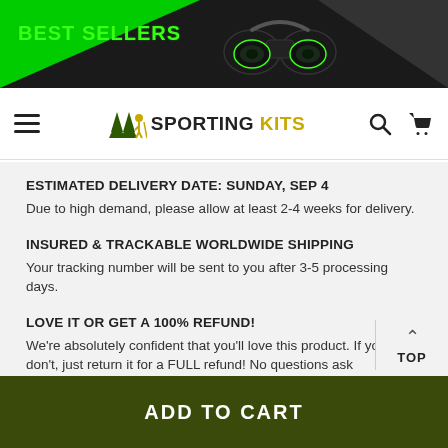[Figure (screenshot): E-commerce website banner with BEST SELLERS text in green on dark background with binoculars image]
SPORTING KITS — navigation bar with hamburger menu, logo, search and cart icons
ESTIMATED DELIVERY DATE: SUNDAY, SEP 4
Due to high demand, please allow at least 2-4 weeks for delivery.
INSURED & TRACKABLE WORLDWIDE SHIPPING
Your tracking number will be sent to you after 3-5 processing days.
LOVE IT OR GET A 100% REFUND!
We're absolutely confident that you'll love this product. If you don't, just return it for a FULL refund! No questions ask
ADD TO CART